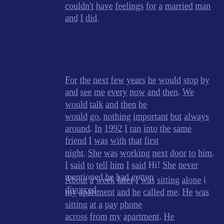couldn't have feelings for a married man and I did.
For the next few years he would stop by and see me every now and then. We would talk and then he would go, nothing important but always around. In 1992 I ran into the same friend I was with that first night. She was working next door to him. I said to tell him I said Hi! She never mentioned he had gotten divorced.
About a week later I was sitting alone i my apartment and he called me. He was sitting at a pay phone across from my apartment. He